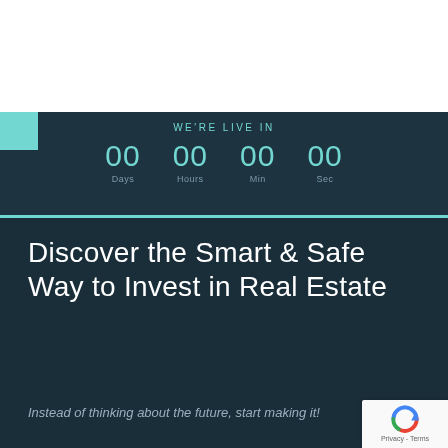WE'RE LIVE IN
00 Days  00 Hours  00 Min  00 Sec
Discover the Smart & Safe Way to Invest in Real Estate
Instead of thinking about the future, start making it!
[Figure (logo): Google reCAPTCHA badge with circular arrow icon and Privacy - Terms text]